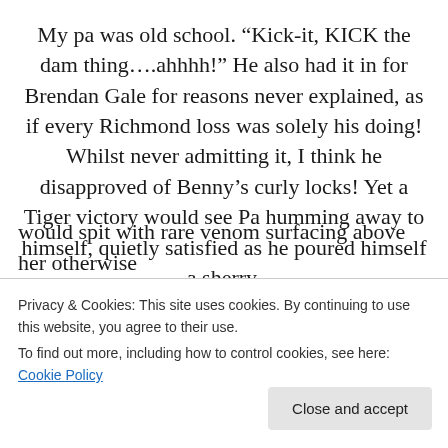My pa was old school. “Kick-it, KICK the dam thing….ahhhh!” He also had it in for Brendan Gale for reasons never explained, as if every Richmond loss was solely his doing! Whilst never admitting it, I think he disapproved of Benny’s curly locks! Yet a Tiger victory would see Pa humming away to himself, quietly satisfied as he poured himself a sherry.
My nana, a Cronin, was old school too. She was the most mild-mannered being you could meet, never a cross word from her lips and an ever-present smile. Yet the mere
would spit with rare venom surfacing above her otherwise
Privacy & Cookies: This site uses cookies. By continuing to use this website, you agree to their use.
To find out more, including how to control cookies, see here: Cookie Policy
Close and accept